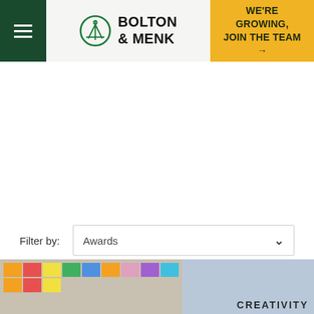Bolton & Menk — WE'RE GROWING, JOIN THE TEAM →
Filter by: Awards
[Figure (screenshot): Bottom image strip showing a classroom or office scene with colorful sticky notes on a board, a person visible, and the word CREATIVITY partially visible at the bottom right.]